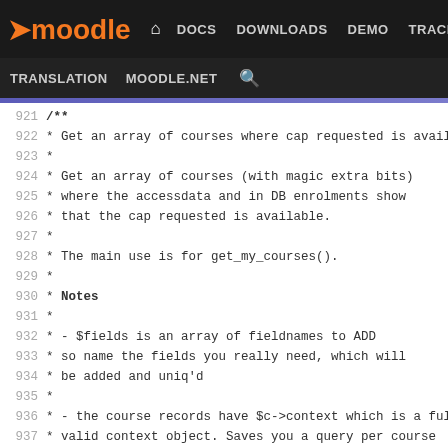Moodle navigation: DOCS DOWNLOADS DEMO TRACKER DEV TRANSLATION MOODLE.NET
921 /**
922  * Get an array of courses where cap requested is avail
923  *
924  * Get an array of courses (with magic extra bits)
925  * where the accessdata and in DB enrolments show
926  * that the cap requested is available.
927  *
928  * The main use is for get_my_courses().
929  *
930  * Notes
931  *
932  * - $fields is an array of fieldnames to ADD
933  *   so name the fields you really need, which will
934  *   be added and uniq'd
935  *
936  * - the course records have $c->context which is a ful
937  *   valid context object. Saves you a query per course
938  *
939  * - the course records have $c->categorypath to make
940  *   category lookups cheap
941  *
942  * - current implementation is split in -
943  *
944  *   - if the user has the cap systemwide, stupidly
945  *     grab *every* course for a capcheck. This eats
946  *     a TON of bandwidth, specially on large sites